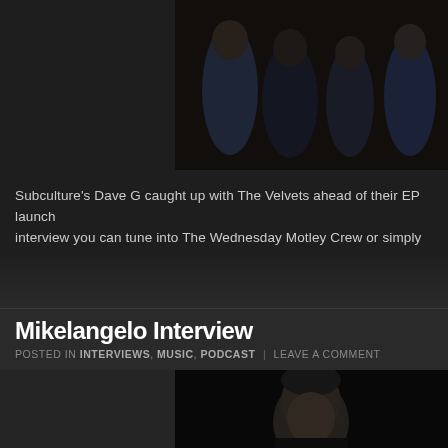[Figure (photo): Photo of The Velvets band — four young men seated/standing against a brick wall background, wearing casual clothing, dark tones]
Subculture's Dave G caught up with The Velvets ahead of their EP launch interview you can tune into The Wednesday Motley Crew or simply dow
Mikelangelo Interview
POSTED IN INTERVIEWS, MUSIC, PODCAST | LEAVE A COMMENT
[Figure (photo): Portrait photo of Mikelangelo — a man with slicked-back dark hair wearing a dark jacket, against a black background]